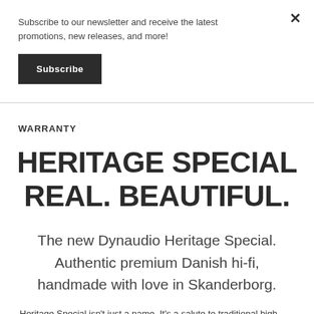Subscribe to our newsletter and receive the latest promotions, new releases, and more!
Subscribe
×
WARRANTY
HERITAGE SPECIAL REAL. BEAUTIFUL.
The new Dynaudio Heritage Special. Authentic premium Danish hi-fi, handmade with love in Skanderborg.
Heritage Special isn't just a name. It's a salute to traditional high-performance Danish audio design. And each of the